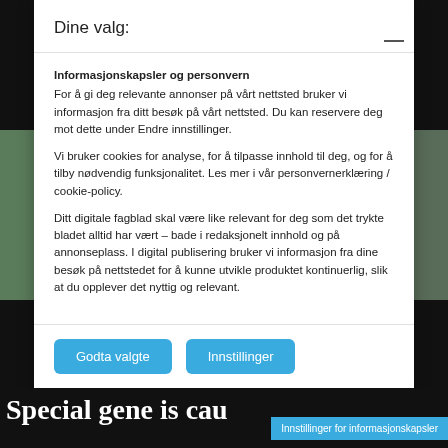Dine valg:
Informasjonskapsler og personvern
For å gi deg relevante annonser på vårt nettsted bruker vi informasjon fra ditt besøk på vårt nettsted. Du kan reservere deg mot dette under Endre innstillinger.
Vi bruker cookies for analyse, for å tilpasse innhold til deg, og for å tilby nødvendig funksjonalitet. Les mer i vår personvernerklæring / cookie-policy.
Ditt digitale fagblad skal være like relevant for deg som det trykte bladet alltid har vært – bade i redaksjonelt innhold og på annonseplass. I digital publisering bruker vi informasjon fra dine besøk på nettstedet for å kunne utvikle produktet kontinuerlig, slik at du opplever det nyttig og relevant.
Godta valgte
Innstillinger
Special gene is cau
Innstillinger for informasjonskapsler